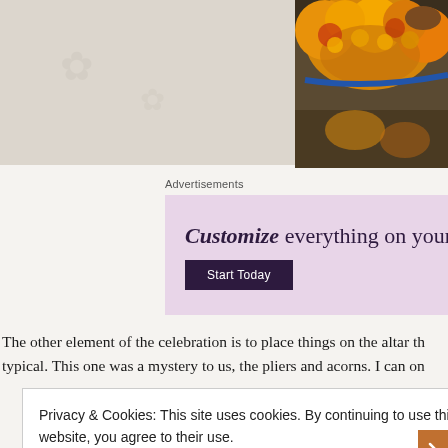[Figure (photo): Top-left: light beige/cream textured background area, partial view of a surface]
[Figure (photo): Top-right: Close-up photo of orange and yellow marigold flowers with a blue strap/string visible, on a dark background]
Advertisements
[Figure (screenshot): Advertisement banner with light purple/lavender background. Text reads: Customize everything on your site. Button: Start Today]
The other element of the celebration is to place things on the altar th typical. This one was a mystery to us, the pliers and acorns. I can on
Privacy & Cookies: This site uses cookies. By continuing to use this website, you agree to their use.
To find out more, including how to control cookies, see here: Cookie Policy
Close and accept